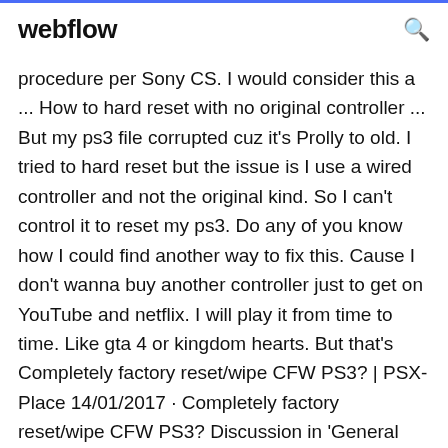webflow
procedure per Sony CS. I would consider this a ... How to hard reset with no original controller ... But my ps3 file corrupted cuz it's Prolly to old. I tried to hard reset but the issue is I use a wired controller and not the original kind. So I can't control it to reset my ps3. Do any of you know how I could find another way to fix this. Cause I don't wanna buy another controller just to get on YouTube and netflix. I will play it from time to time. Like gta 4 or kingdom hearts. But that's Completely factory reset/wipe CFW PS3? | PSX-Place 14/01/2017 · Completely factory reset/wipe CFW PS3? Discussion in 'General PS3 Discussion' started by Casavult, Jan 13, I want to factory reset so there isn't